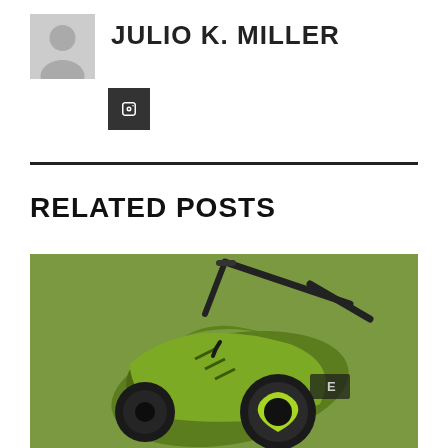[Figure (photo): Author avatar placeholder - grey silhouette icon]
JULIO K. MILLER
[Figure (logo): Dark square social media icon button]
RELATED POSTS
[Figure (photo): Photo of a Sun Joe electric lawn scarifier/dethatcher with lime green body and black wheels on a green background]